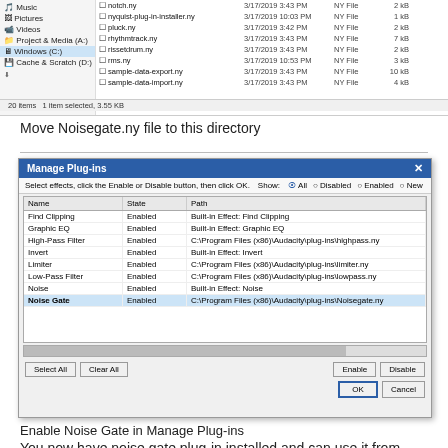[Figure (screenshot): Windows file explorer showing plug-ins directory with .ny files listed]
Move Noisegate.ny file to this directory
[Figure (screenshot): Manage Plug-ins dialog in Audacity showing a list of effects with Name, State, and Path columns. Noise Gate row is selected and highlighted, showing path C:\Program Files (x86)\Audacity\plug-ins\Noisegate.ny. Dialog has Select All, Clear All, Enable, Disable, OK, and Cancel buttons.]
Enable Noise Gate in Manage Plug-ins
You now have noise gate plug-in installed and can use it from